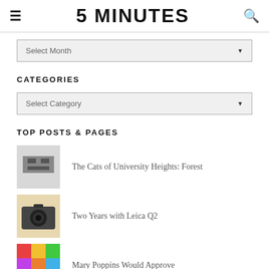5 MINUTES
Select Month
CATEGORIES
Select Category
TOP POSTS & PAGES
The Cats of University Heights: Forest
Two Years with Leica Q2
Mary Poppins Would Approve